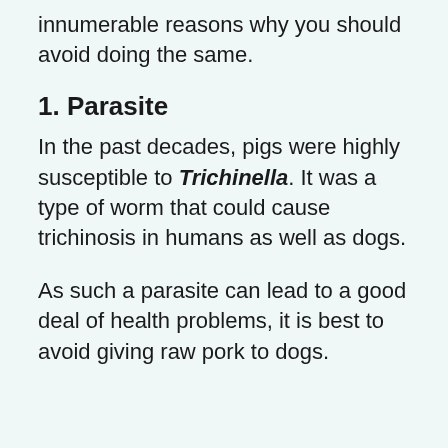innumerable reasons why you should avoid doing the same.
1. Parasite
In the past decades, pigs were highly susceptible to Trichinella. It was a type of worm that could cause trichinosis in humans as well as dogs.
As such a parasite can lead to a good deal of health problems, it is best to avoid giving raw pork to dogs.